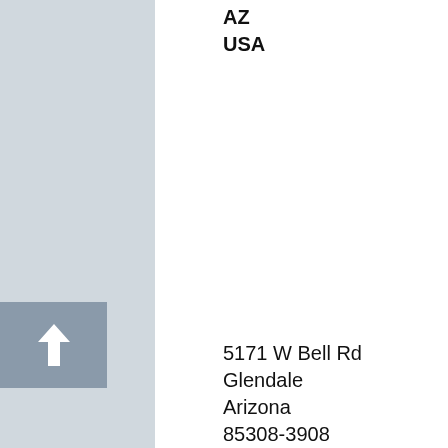AZ
USA
5171 W Bell Rd
Glendale
Arizona
85308-3908